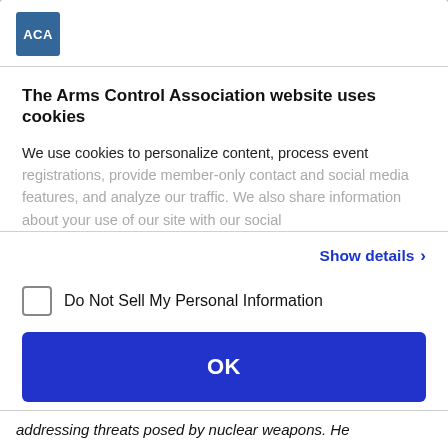[Figure (logo): ACA (Arms Control Association) logo — blue square with white text 'ACA']
The Arms Control Association website uses cookies
We use cookies to personalize content, process event registrations, provide member-only contact and social media features, and analyze our traffic. We also share information about your use of our site with our social
Show details >
Do Not Sell My Personal Information
OK
Powered by Cookiebot by Usercentrics
addressing threats posed by nuclear weapons. He